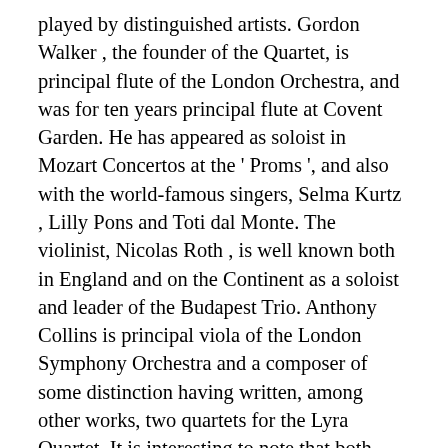played by distinguished artists. Gordon Walker , the founder of the Quartet, is principal flute of the London Orchestra, and was for ten years principal flute at Covent Garden. He has appeared as soloist in Mozart Concertos at the 'Proms ', and also with the world-famous singers, Selma Kurtz , Lilly Pons and Toti dal Monte. The violinist, Nicolas Roth , is well known both in England and on the Continent as a soloist and leader of the Budapest Trio. Anthony Collins is principal viola of the London Symphony Orchestra and a composer of some distinction having written, among other works, two quartets for the Lyra Quartet. It is interesting to note that both Vaughan Williams and Arnold Bax have promised to write special works for the Lyra Quartet in the near future. The harpist, John Cockerill , is one of the finest players of his instrument in the country, and is principal harpist of the London Symphony Orchestra. The chief aim of the Lyra Quartet is the providing of first-rate performances of